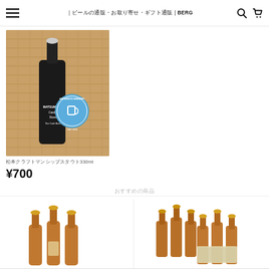☰  ｜ビールの通販・お取り寄せ・ギフト通販 | BERG  🔍  🛒
[Figure (photo): A dark glass bottle of Matsumoto Castle Stout craft beer with a blue round Matsumoto Brewery Craft Beer label, placed on a burlap/woven mat background]
松本クラフトマンシップスタウト330ml
¥700
おすすめの商品
[Figure (photo): Three brown glass beer bottles with amber/gold caps arranged together, white background]
[Figure (photo): Six brown glass beer bottles with amber/gold caps arranged together with a label visible, white background]